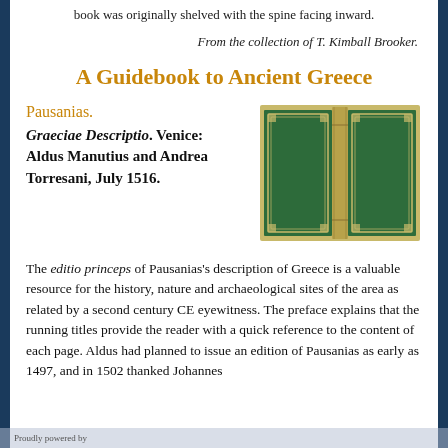book was originally shelved with the spine facing inward.
From the collection of T. Kimball Brooker.
A Guidebook to Ancient Greece
Pausanias.
Graeciae Descriptio. Venice: Aldus Manutius and Andrea Torresani, July 1516.
[Figure (photo): Photograph of a green leather-bound book open to show front and back covers with gilt decoration.]
The editio princeps of Pausanias's description of Greece is a valuable resource for the history, nature and archaeological sites of the area as related by a second century CE eyewitness. The preface explains that the running titles provide the reader with a quick reference to the content of each page. Aldus had planned to issue an edition of Pausanias as early as 1497, and in 1502 thanked Johannes
Proudly powered by